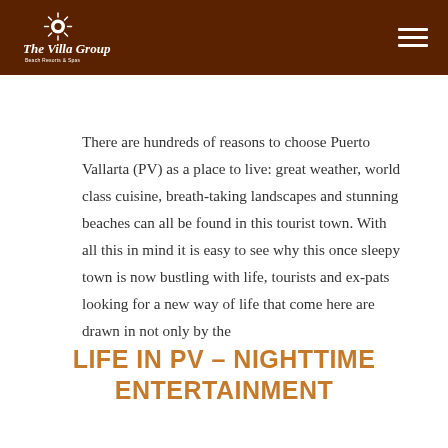The Villa Group Beach Resorts & Spas
There are hundreds of reasons to choose Puerto Vallarta (PV) as a place to live: great weather, world class cuisine, breath-taking landscapes and stunning beaches can all be found in this tourist town. With all this in mind it is easy to see why this once sleepy town is now bustling with life, tourists and ex-pats looking for a new way of life that come here are drawn in not only by the
LIFE IN PV – NIGHTTIME ENTERTAINMENT